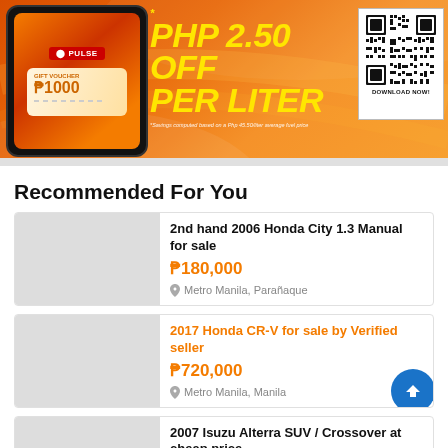[Figure (infographic): Orange banner advertisement for Petron Pulse app offering PHP 2.50 off per liter on fuel, with phone mockup showing gift voucher, large yellow italic text 'PHP 2.50 OFF PER LITER', asterisk note, QR code with DOWNLOAD NOW label]
Recommended For You
2nd hand 2006 Honda City 1.3 Manual for sale
₱180,000
Metro Manila, Parañaque
2017 Honda CR-V for sale by Verified seller
₱720,000
Metro Manila, Manila
2007 Isuzu Alterra SUV / Crossover at cheap price